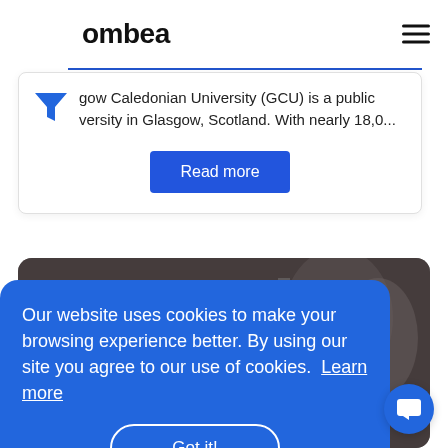ombea
gow Caledonian University (GCU) is a public versity in Glasgow, Scotland. With nearly 18,0...
Read more
[Figure (screenshot): Dark photo of people in background, partially visible behind cookie banner]
Our website uses cookies to make your browsing experience better. By using our site you agree to our use of cookies. Learn more
Got it!